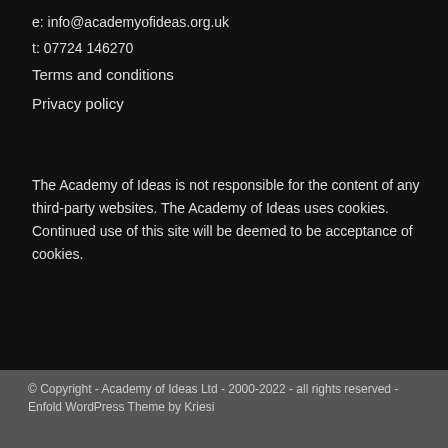e: info@academyofideas.org.uk
t: 07724 146270
Terms and conditions
Privacy policy
The Academy of Ideas is not responsible for the content of any third-party websites. The Academy of Ideas uses cookies. Continued use of this site will be deemed to be acceptance of cookies.
© Copyright - Academy of Ideas Ltd - 2000-2022 - all rights reserved - Enfold WordPress Theme by Kriesi